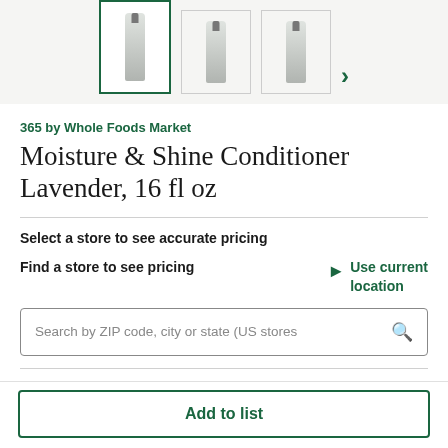[Figure (screenshot): Product image gallery thumbnails showing three bottle images with a right arrow for navigation. First thumbnail is selected with green border.]
365 by Whole Foods Market
Moisture & Shine Conditioner Lavender, 16 fl oz
Select a store to see accurate pricing
Find a store to see pricing
Use current location
Search by ZIP code, city or state (US stores
INGREDIENTS
Add to list